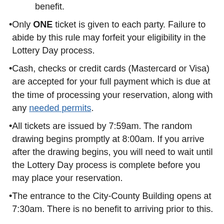benefit.
Only ONE ticket is given to each party. Failure to abide by this rule may forfeit your eligibility in the Lottery Day process.
Cash, checks or credit cards (Mastercard or Visa) are accepted for your full payment which is due at the time of processing your reservation, along with any needed permits.
All tickets are issued by 7:59am. The random drawing begins promptly at 8:00am. If you arrive after the drawing begins, you will need to wait until the Lottery Day process is complete before you may place your reservation.
The entrance to the City-County Building opens at 7:30am. There is no benefit to arriving prior to this.